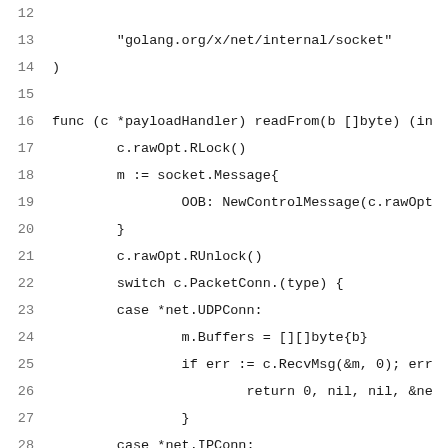[Figure (screenshot): Code snippet in Go language showing lines 12-32 of a source file. Lines include import of 'golang.org/x/net/internal/socket', and a function readFrom on payloadHandler with cases for *net.UDPConn and *net.IPConn using socket.Message and RecvMsg calls.]